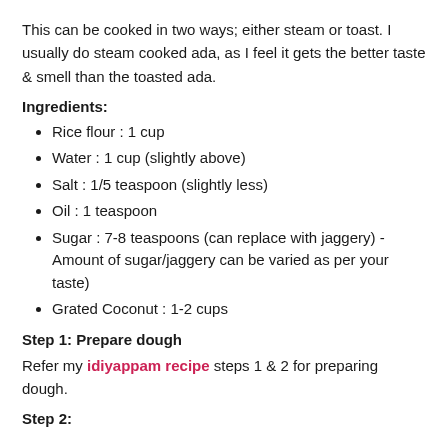This can be cooked in two ways; either steam or toast. I usually do steam cooked ada, as I feel it gets the better taste & smell than the toasted ada.
Ingredients:
Rice flour : 1 cup
Water : 1 cup (slightly above)
Salt : 1/5 teaspoon (slightly less)
Oil : 1 teaspoon
Sugar : 7-8 teaspoons (can replace with jaggery) - Amount of sugar/jaggery can be varied as per your taste)
Grated Coconut : 1-2 cups
Step 1: Prepare dough
Refer my idiyappam recipe steps 1 & 2 for preparing dough.
Step 2: